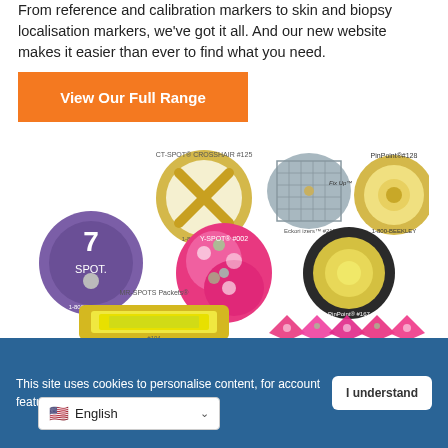From reference and calibration markers to skin and biopsy localisation markers, we've got it all. And our new website makes it easier than ever to find what you need.
[Figure (other): Orange button reading 'View Our Full Range']
[Figure (photo): Product photos of various Beekley medical skin markers including CT-SPOT Crosshair, Fix-Up, PinPoint #128, Z-SPOT, Y-SPOT, PinPoint circular, MR-SPOTS Packets, and floral diamond-shaped markers]
This site uses cookies to personalise content, for account features, and to an...
[Figure (other): I understand button on cookie banner]
[Figure (other): Language selector showing English with US flag]